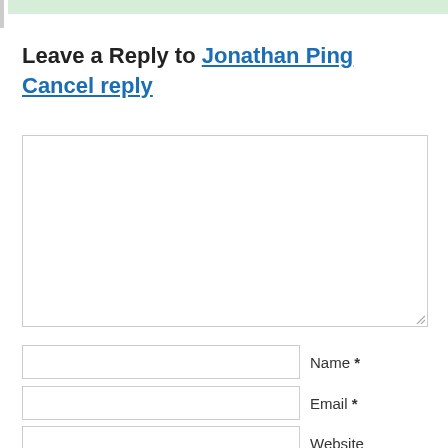Leave a Reply to Jonathan Ping
Cancel reply
[Figure (other): Comment text area input box]
Name *
Email *
Website
Notify me of follow-up comments by email.